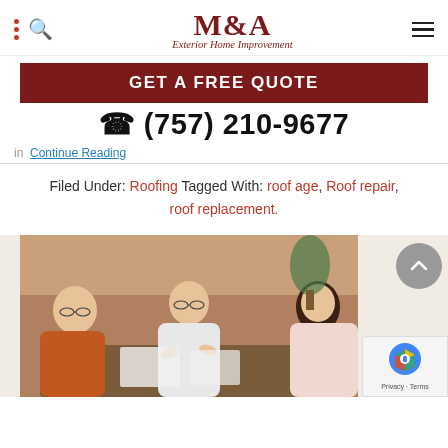M&A Exterior Home Improvement
GET A FREE QUOTE
(757) 210-9677
... Continue Reading
Filed Under: Roofing Tagged With: roof age, Roof repair, roof replacement.
[Figure (photo): Three people sitting at a table in a meeting — a man with glasses in an orange shirt on the left, a woman in a white shirt with glasses in the center gesturing, and a woman with curly dark hair on the right. Office/home setting with plants in background.]